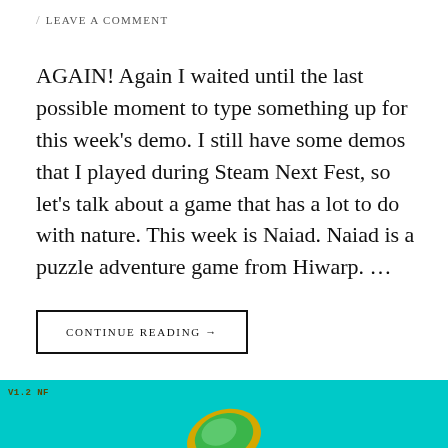/ LEAVE A COMMENT
AGAIN! Again I waited until the last possible moment to type something up for this week's demo. I still have some demos that I played during Steam Next Fest, so let's talk about a game that has a lot to do with nature. This week is Naiad. Naiad is a puzzle adventure game from Hiwarp. ...
CONTINUE READING →
[Figure (illustration): Teal/cyan banner at bottom of page with a small green and gold leaf/coin shape visible, and a small label reading V1.2 NF in the top left of the banner]